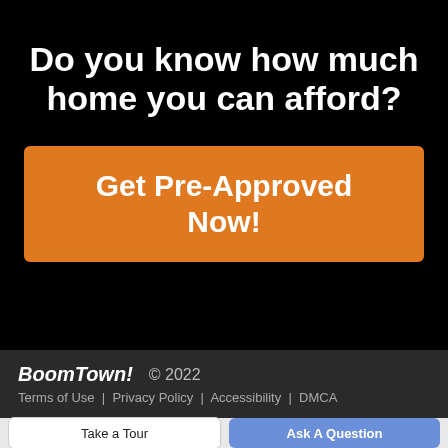Do you know how much home you can afford?
Get Pre-Approved Now!
BoomTown! © 2022
Terms of Use | Privacy Policy | Accessibility | DMCA
Take a Tour
Ask A Question